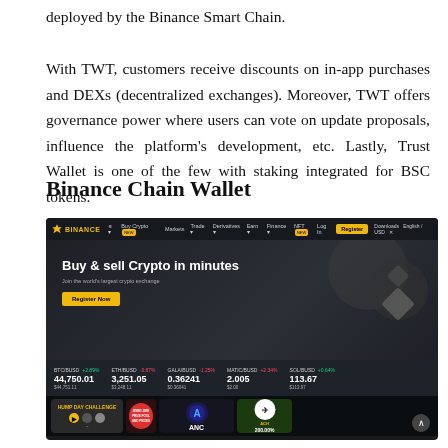deployed by the Binance Smart Chain.
With TWT, customers receive discounts on in-app purchases and DEXs (decentralized exchanges). Moreover, TWT offers governance power where users can vote on update proposals, influence the platform's development, etc. Lastly, Trust Wallet is one of the few with staking integrated for BSC tokens.
Binance Chain Wallet
[Figure (screenshot): Screenshot of the Binance exchange website homepage showing the navigation bar with BINANCE logo, Buy Crypto, Markets, Trade, Derivatives, Earn, Finance, NFT menu items, and Log In / Register buttons. Hero section reads 'Buy & sell Crypto in minutes' with a 'Register Now' button. Ticker shows BTC/BUSD 44,750.01, ETH/BUSD 3,251.05, GALA/BUSD 0.36241, MATIC/BUSD 2.005, SOL/BUSD 113.67. Bottom shows promotional banners including HUMP DAY CHALLENGE, $500,000 prize, ANC token, and ACH 200.00%.]